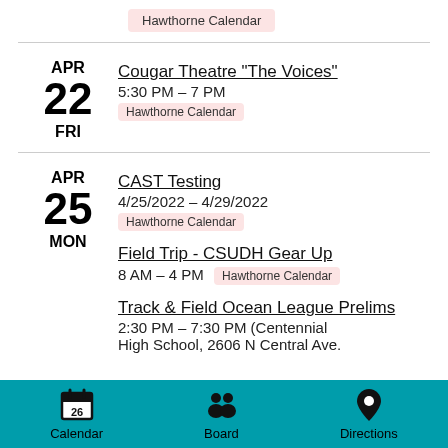Hawthorne Calendar
APR 22 FRI — Cougar Theatre "The Voices" 5:30 PM – 7 PM — Hawthorne Calendar
APR 25 MON — CAST Testing 4/25/2022 – 4/29/2022 — Hawthorne Calendar
APR 25 MON — Field Trip - CSUDH Gear Up 8 AM – 4 PM Hawthorne Calendar
APR 25 MON — Track & Field Ocean League Prelims 2:30 PM – 7:30 PM (Centennial High School, 2606 N Central Ave.
Calendar   Board   Directions